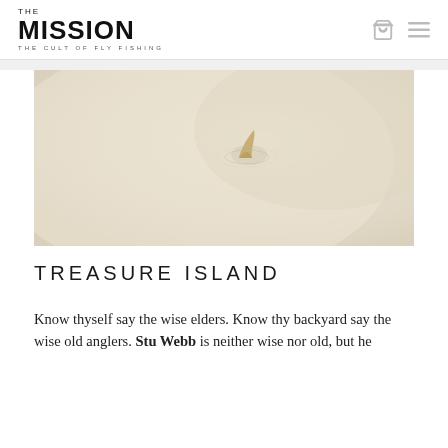THE MISSION — THE CULT OF FLY FISHING
[Figure (photo): Aerial or close-up photograph of a pale sandy/beige flat surface with a small fish tail or fin breaking the surface, creating a slight ripple — suggestive of a bonefish on a flat]
TREASURE ISLAND
Know thyself say the wise elders. Know thy backyard say the wise old anglers. Stu Webb is neither wise nor old, but he